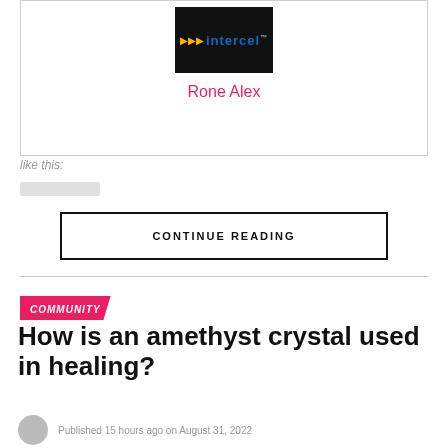[Figure (logo): Intercel logo: dark background with orange arrows and blue 'intercel' text with TM mark]
Rone Alex
like this:
CONTINUE READING
COMMUNITY
How is an amethyst crystal used in healing?
Published 15 hours ago on August 31, 2022